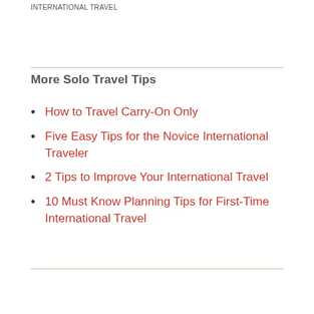INTERNATIONAL TRAVEL
More Solo Travel Tips
How to Travel Carry-On Only
Five Easy Tips for the Novice International Traveler
2 Tips to Improve Your International Travel
10 Must Know Planning Tips for First-Time International Travel